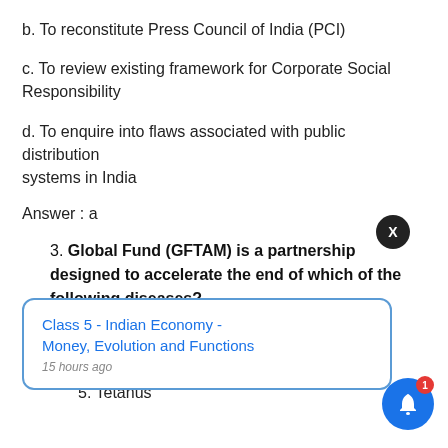b. To reconstitute Press Council of India (PCI)
c. To review existing framework for Corporate Social Responsibility
d. To enquire into flaws associated with public distribution systems in India
Answer : a
3. Global Fund (GFTAM) is a partnership designed to accelerate the end of which of the following diseases?
1. AIDS
5. Tetanus
[Figure (other): Notification popup showing 'Class 5 - Indian Economy - Money, Evolution and Functions' with timestamp '15 hours ago', with a close (X) button and a blue bell notification button with badge '1']